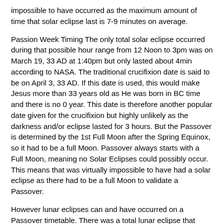impossible to have occurred as the maximum amount of time that solar eclipse last is 7-9 minutes on average.
Passion Week Timing The only total solar eclipse occurred during that possible hour range from 12 Noon to 3pm was on March 19, 33 AD at 1:40pm but only lasted about 4min according to NASA. The traditional crucifixion date is said to be on April 3, 33 AD. If this date is used, this would make Jesus more than 33 years old as He was born in BC time and there is no 0 year. This date is therefore another popular date given for the crucifixion but highly unlikely as the darkness and/or eclipse lasted for 3 hours. But the Passover is determined by the 1st Full Moon after the Spring Equinox, so it had to be a full Moon. Passover always starts with a Full Moon, meaning no Solar Eclipses could possibly occur. This means that was virtually impossible to have had a solar eclipse as there had to be a full Moon to validate a Passover.
However lunar eclipses can and have occurred on a Passover timetable. There was a total lunar eclipse that perhaps might have compliment the actual timing of the symbology of crucifixion that tied it directly to the 1st Passover in Egypt. On April 25, AD 31 a Wednesday, a total lunar eclipse was rising above the Jerusalem horizon. This eclipse would fit or be in sync with the presented timeline because although Passover always starts